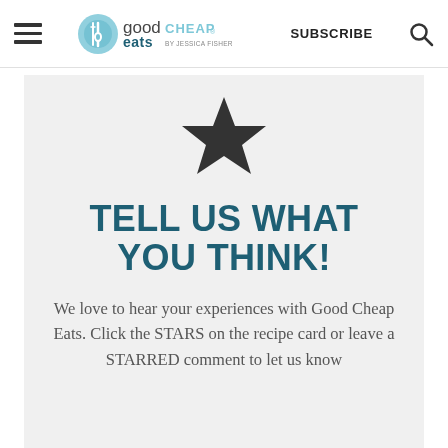good CHEAP eats BY JESSICA FISHER | SUBSCRIBE
[Figure (illustration): A single large dark star icon centered on a light gray background]
TELL US WHAT YOU THINK!
We love to hear your experiences with Good Cheap Eats. Click the STARS on the recipe card or leave a STARRED comment to let us know